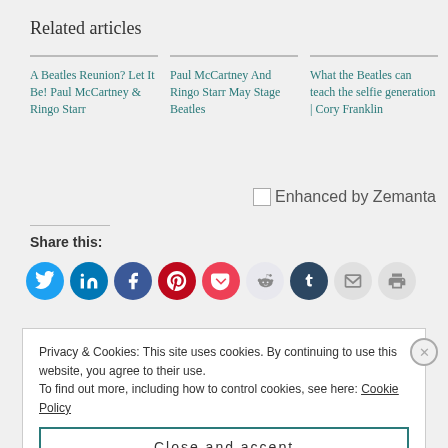Related articles
A Beatles Reunion? Let It Be! Paul McCartney & Ringo Starr
Paul McCartney And Ringo Starr May Stage Beatles
What the Beatles can teach the selfie generation | Cory Franklin
[Figure (logo): Enhanced by Zemanta logo/badge]
Share this:
[Figure (infographic): Row of social sharing icon circles: Twitter, LinkedIn, Facebook, Pinterest, Pocket, Reddit, Tumblr, Email, Print]
Privacy & Cookies: This site uses cookies. By continuing to use this website, you agree to their use. To find out more, including how to control cookies, see here: Cookie Policy
Close and accept